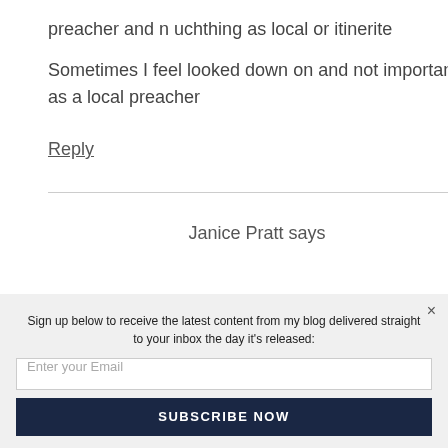preacher and n uchthing as local or itinerite
Sometimes I feel looked down on and not important as a local preacher
Reply
Janice Pratt says
Sign up below to receive the latest content from my blog delivered straight to your inbox the day it's released:
Enter your Email
SUBSCRIBE NOW